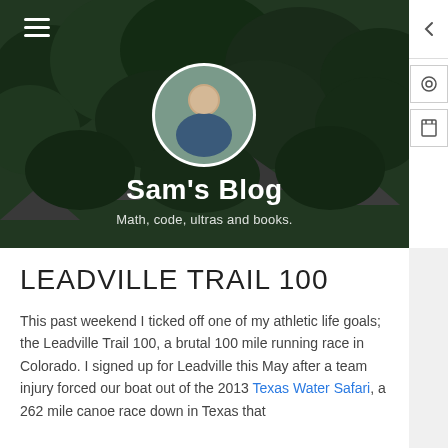[Figure (photo): Hero banner with mountainous forested background, circular avatar photo of a person, blog title and subtitle overlay]
Sam's Blog
Math, code, ultras and books.
LEADVILLE TRAIL 100
This past weekend I ticked off one of my athletic life goals; the Leadville Trail 100, a brutal 100 mile running race in Colorado. I signed up for Leadville this May after a team injury forced our boat out of the 2013 Texas Water Safari, a 262 mile canoe race down in Texas that